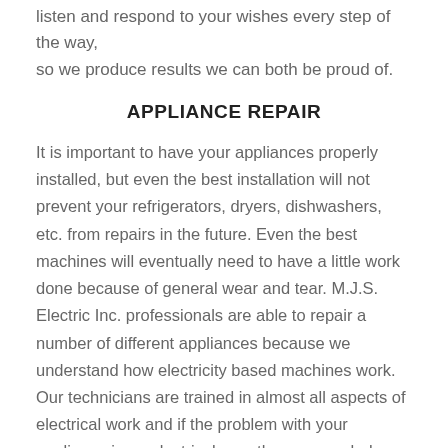listen and respond to your wishes every step of the way, so we produce results we can both be proud of.
APPLIANCE REPAIR
It is important to have your appliances properly installed, but even the best installation will not prevent your refrigerators, dryers, dishwashers, etc. from repairs in the future. Even the best machines will eventually need to have a little work done because of general wear and tear. M.J.S. Electric Inc. professionals are able to repair a number of different appliances because we understand how electricity based machines work. Our technicians are trained in almost all aspects of electrical work and if the problem with your appliance is an electrical one, then we can help.
We will come to your home or business, inspect the